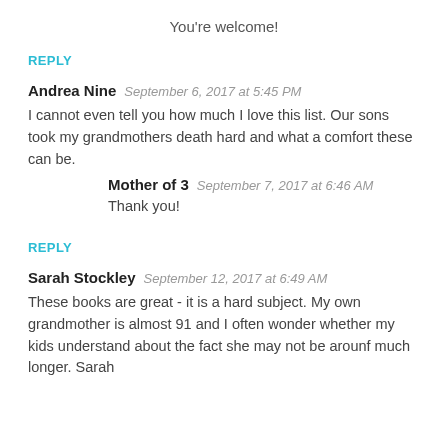You're welcome!
REPLY
Andrea Nine   September 6, 2017 at 5:45 PM
I cannot even tell you how much I love this list. Our sons took my grandmothers death hard and what a comfort these can be.
Mother of 3   September 7, 2017 at 6:46 AM
Thank you!
REPLY
Sarah Stockley   September 12, 2017 at 6:49 AM
These books are great - it is a hard subject. My own grandmother is almost 91 and I often wonder whether my kids understand about the fact she may not be arounf much longer. Sarah